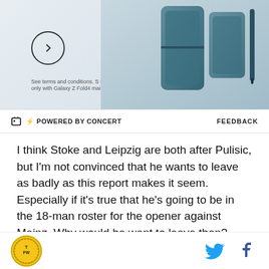[Figure (photo): Advertisement banner showing Samsung Galaxy Z Fold4 smartphone with S Pen, teal/dark green color, with a circular play/forward button on the left side and fine print text about terms and conditions]
POWERED BY CONCERT   FEEDBACK
I think Stoke and Leipzig are both after Pulisic, but I'm not convinced that he wants to leave as badly as this report makes it seem. Especially if it's true that he's going to be in the 18-man roster for the opener against Mainz. Why would he want to leave then? He'll only just be turning 18 this September and surely can't be that unhappy with a bench role on the senior team.
There still have been no signs from Pulisic or the Club that he is planning to leave, but the report seems to that
TFW logo | Twitter icon | Facebook icon